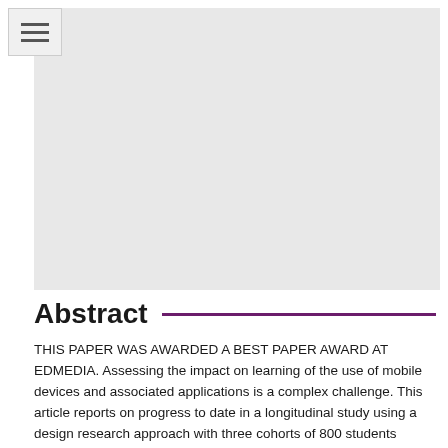[Figure (other): Gray placeholder image area occupying the upper portion of the page]
Abstract
THIS PAPER WAS AWARDED A BEST PAPER AWARD AT EDMEDIA. Assessing the impact on learning of the use of mobile devices and associated applications is a complex challenge. This article reports on progress to date in a longitudinal study using a design research approach with three cohorts of 800 students